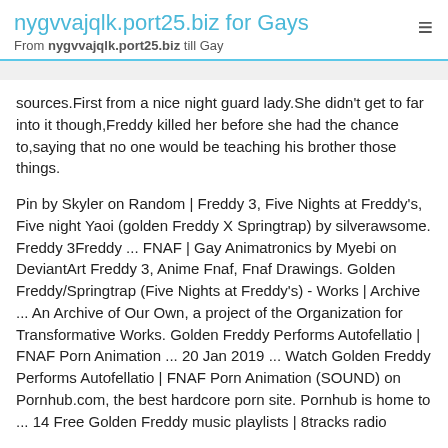nygvvajqlk.port25.biz for Gays
From nygvvajqlk.port25.biz till Gay
sources.First from a nice night guard lady.She didn't get to far into it though,Freddy killed her before she had the chance to,saying that no one would be teaching his brother those things.
Pin by Skyler on Random | Freddy 3, Five Nights at Freddy's, Five night Yaoi (golden Freddy X Springtrap) by silverawsome. Freddy 3Freddy ... FNAF | Gay Animatronics by Myebi on DeviantArt Freddy 3, Anime Fnaf, Fnaf Drawings. Golden Freddy/Springtrap (Five Nights at Freddy's) - Works | Archive ... An Archive of Our Own, a project of the Organization for Transformative Works. Golden Freddy Performs Autofellatio | FNAF Porn Animation ... 20 Jan 2019 ... Watch Golden Freddy Performs Autofellatio | FNAF Porn Animation (SOUND) on Pornhub.com, the best hardcore porn site. Pornhub is home to ... 14 Free Golden Freddy music playlists | 8tracks radio